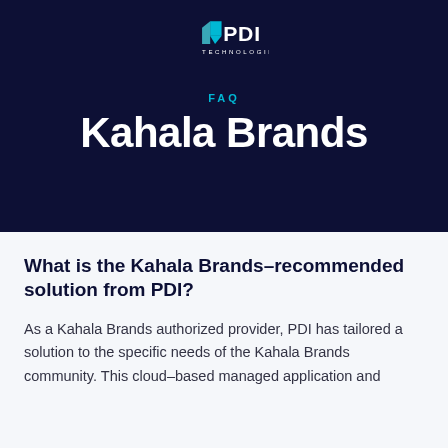[Figure (logo): PDI Technologies logo with cyan arrow/flag icon and white PDI text, with TECHNOLOGIES below in white]
FAQ
Kahala Brands
What is the Kahala Brands-recommended solution from PDI?
As a Kahala Brands authorized provider, PDI has tailored a solution to the specific needs of the Kahala Brands community. This cloud-based managed application and